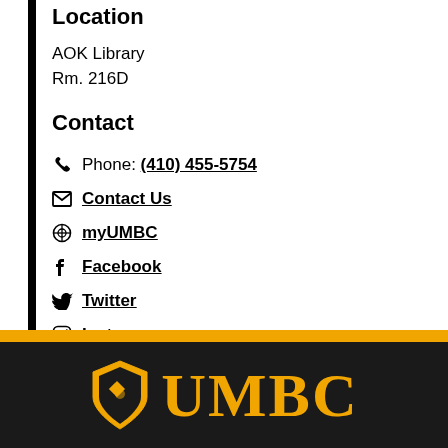Location
AOK Library
Rm. 216D
Contact
Phone: (410) 455-5754
Contact Us
myUMBC
Facebook
Twitter
Instagram
UMBC